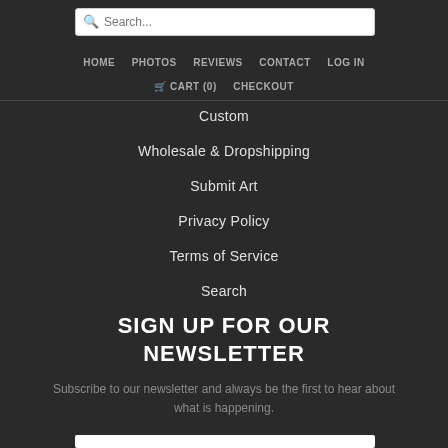Search...
HOME  PHOTOS  REVIEWS  CONTACT  LOG IN
CART (0)  CHECKOUT
Custom
Wholesale & Dropshipping
Submit Art
Privacy Policy
Terms of Service
Search
SIGN UP FOR OUR NEWSLETTER
Subscribe to our newsletter and always be the first to hear about what is happening.